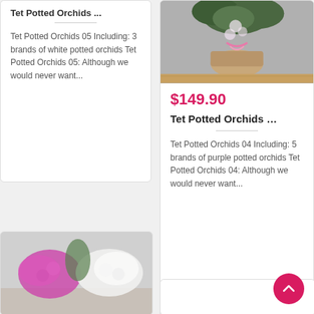Tet Potted Orchids ...
Tet Potted Orchids 05 Including: 3 brands of white potted orchids Tet Potted Orchids 05: Although we would never want...
[Figure (photo): Photo of potted orchids arrangement with pink ribbons and greenery on a wooden surface]
$149.90
Tet Potted Orchids ...
Tet Potted Orchids 04 Including: 5 brands of purple potted orchids Tet Potted Orchids 04: Although we would never want...
[Figure (photo): Photo of pink and white potted orchids arrangement]
[Figure (photo): White card / empty card placeholder]